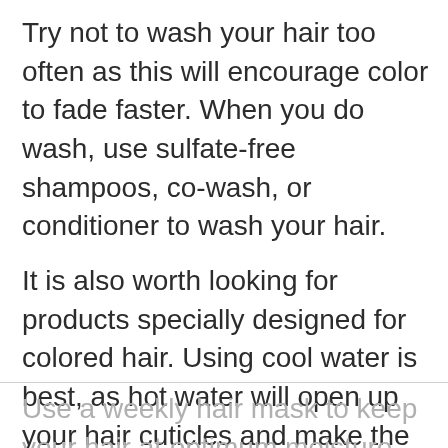Try not to wash your hair too often as this will encourage color to fade faster. When you do wash, use sulfate-free shampoos, co-wash, or conditioner to wash your hair.
It is also worth looking for products specially designed for colored hair. Using cool water is best, as hot water will open up your hair cuticles and make the color fade faster.
Use a weekly hair mask to keep your hair at optimum moisture levels, as